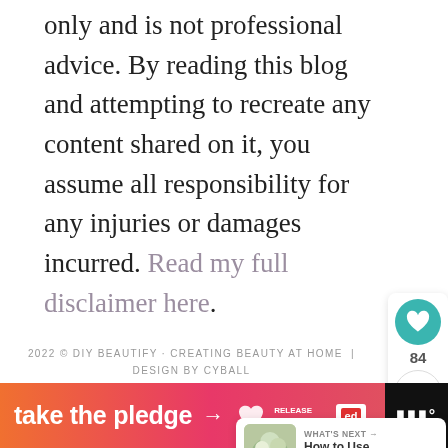only and is not professional advice. By reading this blog and attempting to recreate any content shared on it, you assume all responsibility for any injuries or damages incurred. Read my full disclaimer here.
2022 © DIY BEAUTIFY · CREATING BEAUTY AT HOME | DESIGN BY CYBALL
EXCLUSIVE MEMBER OF MEDIAVINE HOME
[Figure (infographic): Heart/like widget showing teal heart icon and count of 84, plus a share icon below]
[Figure (infographic): What's Next panel with thumbnail image and text: How to Use Succulents i...]
[Figure (infographic): Ad banner: take the pledge with arrow, Release logo, Ed logo, and WW logo on dark background]